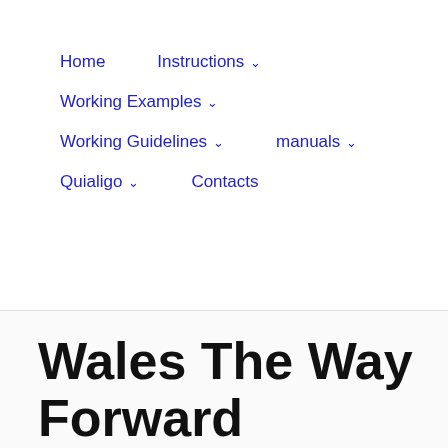Home | Instructions ∨ | Working Examples ∨ | Working Guidelines ∨ | manuals ∨ | Quialigo ∨ | Contacts
Wales The Way Forward